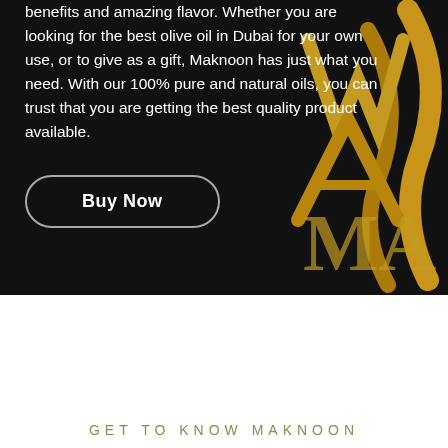benefits and amazing flavor. Whether you are looking for the best olive oil in Dubai for your own use, or to give as a gift, Maknoon has just what you need. With our 100% pure and natural oils, you can trust that you are getting the best quality product available.
[Figure (illustration): Dark background section with gold decorative Arabic/brand calligraphy letters 'MA' visible on the right side]
Buy Now
GET TO KNOW MAKNOON